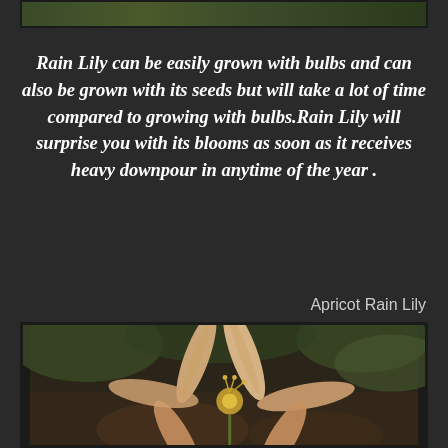[Figure (photo): Top portion of a plant/flower photograph, showing green foliage at the top edge of the page]
Rain Lily can be easily grown with bulbs and can also be grown with its seeds but will take a lot of time compared to growing with bulbs.Rain Lily will surprise you with its blooms as soon as it receives heavy downpour in anytime of the year .
Apricot Rain Lily
[Figure (photo): Close-up photograph of an Apricot Rain Lily flower with pale peach/apricot colored petals spreading outward and a yellow center, with green background]